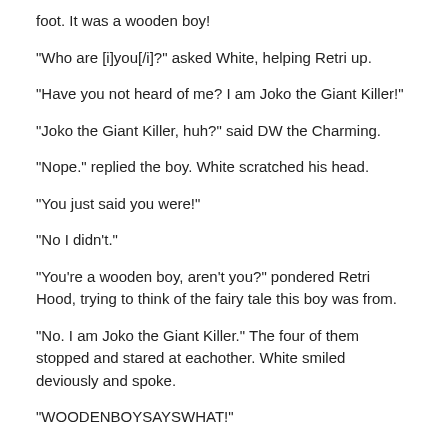foot. It was a wooden boy!
"Who are [i]you[/i]?" asked White, helping Retri up.
"Have you not heard of me? I am Joko the Giant Killer!"
"Joko the Giant Killer, huh?" said DW the Charming.
"Nope." replied the boy. White scratched his head.
"You just said you were!"
"No I didn't."
"You're a wooden boy, aren't you?" pondered Retri Hood, trying to think of the fairy tale this boy was from.
"No. I am Joko the Giant Killer." The four of them stopped and stared at eachother. White smiled deviously and spoke.
"WOODENBOYSAYSWHAT!"